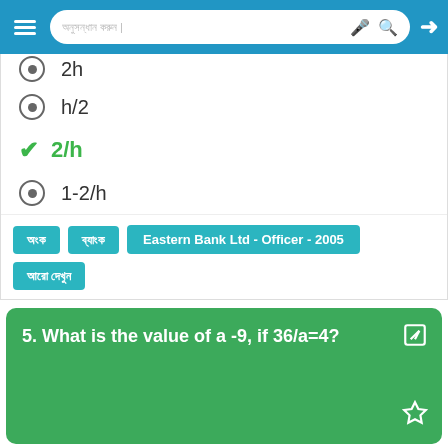Search bar with microphone and login icons
2h (partially visible, radio option)
h/2 (radio option)
2/h (correct answer, checkmark)
1-2/h (radio option)
Eastern Bank Ltd - Officer - 2005 (tag)
Action bar: expand, comment, share
5. What is the value of a -9, if 36/a=4?